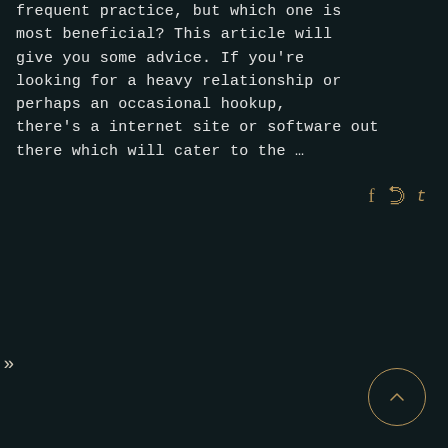frequent practice, but which one is most beneficial? This article will give you some advice. If you're looking for a heavy relationship or perhaps an occasional hookup, there's a internet site or software out there which will cater to the …
[Figure (infographic): Social media icons for Facebook (f), Twitter (bird), and Tumblr (t) in gold/tan color on dark background]
[Figure (infographic): Pagination navigation showing circled '1', then '2', '3', '4' as plain text numbers, followed by '>>' next arrows below, and a circled up-arrow scroll-to-top button on the bottom right]
»